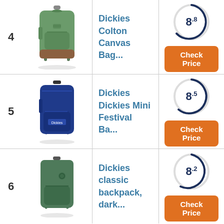4 — Dickies Colton Canvas Bag... — Score: 8.8 — Check Price
5 — Dickies Dickies Mini Festival Ba... — Score: 8.5 — Check Price
6 — Dickies classic backpack, dark... — Score: 8.2 — Check Price